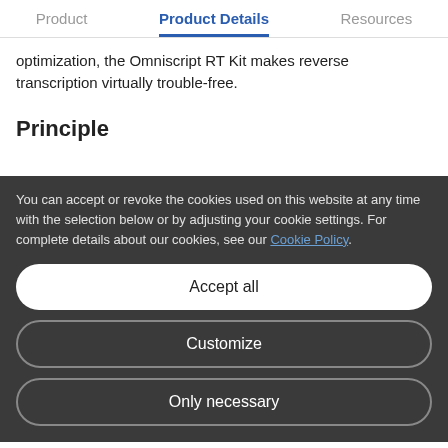Product | Product Details | Resources
optimization, the Omniscript RT Kit makes reverse transcription virtually trouble-free.
Principle
You can accept or revoke the cookies used on this website at any time with the selection below or by adjusting your cookie settings. For complete details about our cookies, see our Cookie Policy.
Accept all
Customize
Only necessary